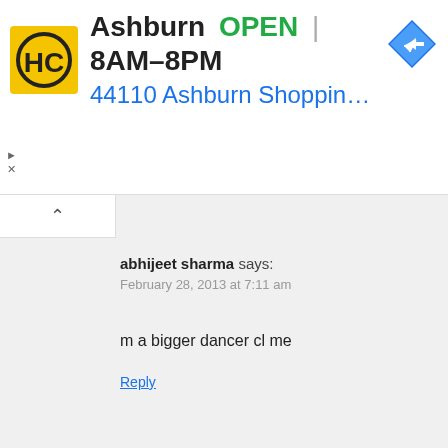[Figure (screenshot): HC logo ad banner for Ashburn location showing yellow HC logo, store name, OPEN status, hours 8AM-8PM, address 44110 Ashburn Shopping Plaza 1., and navigation arrow icon]
abhijeet sharma says:
February 28, 2013 at 7:11 am

m a bigger dancer cl me

Reply
vaibhav satone says:
February 28, 2013 at 5:32 pm